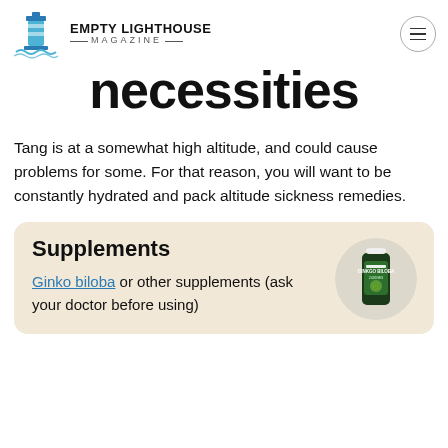Empty Lighthouse Magazine
necessities
Tang is at a somewhat high altitude, and could cause problems for some. For that reason, you will want to be constantly hydrated and pack altitude sickness remedies.
[Figure (infographic): Card with 'Supplements' heading, link to 'Ginko biloba or other supplements (ask your doctor before using)', and a photo of a Ginko Biloba supplement bottle on a beige background.]